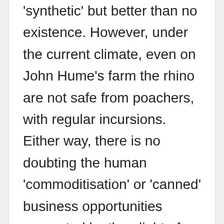'synthetic' but better than no existence. However, under the current climate, even on John Hume's farm the rhino are not safe from poachers, with regular incursions.  Either way, there is no doubting the human 'commoditisation' or 'canned' business opportunities presented by the plight of the rhino.

In terms of rhino horn, then